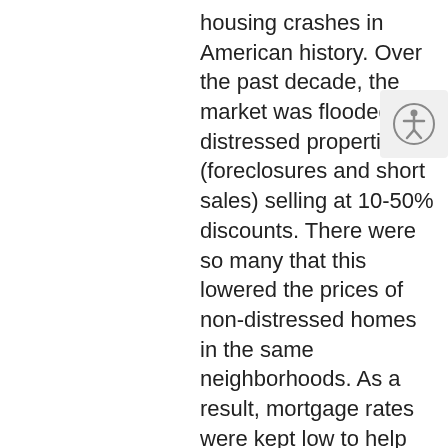housing crashes in American history. Over the past decade, the market was flooded with distressed properties (foreclosures and short sales) selling at 10-50% discounts. There were so many that this lowered the prices of non-distressed homes in the same neighborhoods. As a result, mortgage rates were kept low to help the economy.
Prices have since recovered. Mortgage rates have increased as the economy has gained strength. This has impacted housing